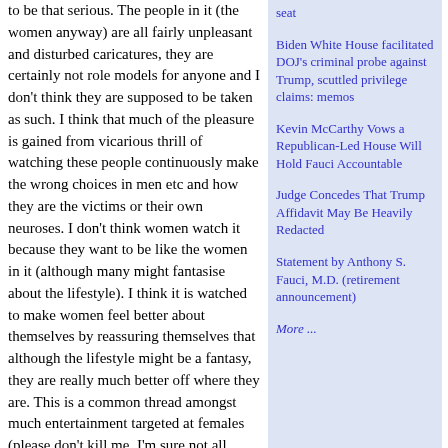to be that serious. The people in it (the women anyway) are all fairly unpleasant and disturbed caricatures, they are certainly not role models for anyone and I don't think they are supposed to be taken as such. I think that much of the pleasure is gained from vicarious thrill of watching these people continuously make the wrong choices in men etc and how they are the victims or their own neuroses. I don't think women watch it because they want to be like the women in it (although many might fantasise about the lifestyle). I think it is watched to make women feel better about themselves by reassuring themselves that although the lifestyle might be a fantasy, they are really much better off where they are. This is a common thread amongst much entertainment targeted at females (please don't kill me, I'm sure not all women like this stuff).
That said, I don't think it is suitable for children as they might not pick up on this
seat
Biden White House facilitated DOJ's criminal probe against Trump, scuttled privilege claims: memos
Kevin McCarthy Vows a Republican-Led House Will Hold Fauci Accountable
Judge Concedes That Trump Affidavit May Be Heavily Redacted
Statement by Anthony S. Fauci, M.D. (retirement announcement)
More ...